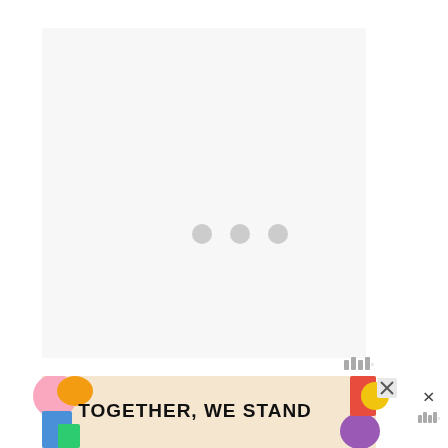[Figure (photo): A large light gray placeholder image area with three small gray loading dots centered in the middle, indicating an image is loading. A small watermark logo with bar-chart style icon and degree symbol appears in the lower-right corner of the image area.]
Instructions
[Figure (infographic): Advertisement banner reading 'TOGETHER, WE STAND' in bold black text on a cream/beige background with colorful abstract shapes on left and right sides. Has an X close button and a small logo watermark.]